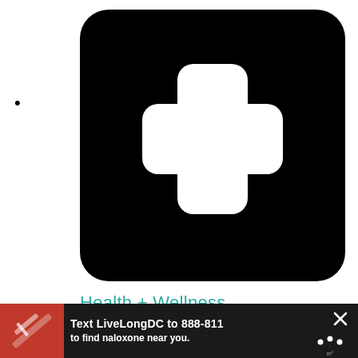•
[Figure (illustration): Black rounded rectangle containing a large white medical plus/cross symbol (first aid kit icon) with rounded corners on the cross arms]
Health + Wellness
[Figure (infographic): Advertisement banner: dark background, red section on left with image of hands holding syringes/naloxone, white bold text reading 'Text LiveLongDC to 888-811 to find naloxone near you.' with DBH logo, and close/X icons on the right]